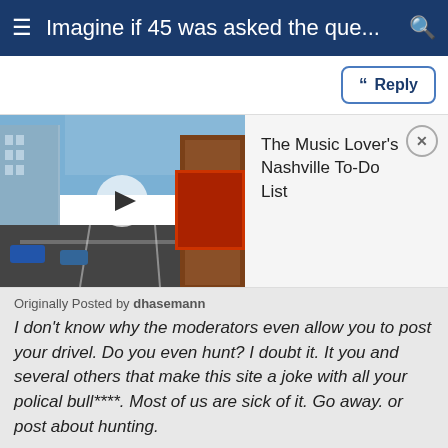Imagine if 45 was asked the que...
Reply
[Figure (screenshot): Video thumbnail showing a Nashville street scene with tall buildings and neon signs, with a play button overlay. Adjacent promo block reads 'The Music Lover's Nashville To-Do List' with a close button.]
Originally Posted by dhasemann
I don't know why the moderators even allow you to post your drivel. Do you even hunt? I doubt it. It you and several others that make this site a joke with all your polical bull****. Most of us are sick of it. Go away. or post about hunting.
I have hunted and continue to hunt for the past 45+ years. I am more passionate about hunting than most.